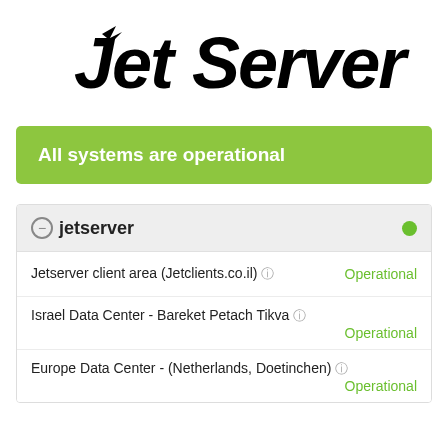[Figure (logo): JetServer logo in bold italic black text with stylized bird icon]
All systems are operational
⊖ jetserver
Jetserver client area (Jetclients.co.il) ℹ — Operational
Israel Data Center - Bareket Petach Tikva ℹ — Operational
Europe Data Center - (Netherlands, Doetinchen) ℹ — Operational